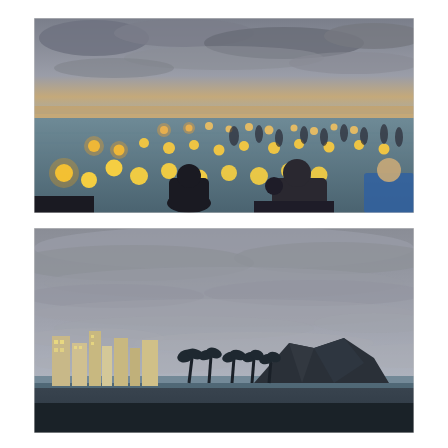[Figure (photo): A dusk scene at a beach (likely Waikiki, Hawaii) showing a lantern floating ceremony. People are standing in shallow water releasing glowing paper lanterns. Many lit lanterns float on the water's surface. People on the shore watch. The sky is overcast with some warm glow near the horizon.]
[Figure (photo): A twilight view of a Hawaiian coastal skyline showing city buildings on the left, Diamond Head crater silhouette in the center-right distance, and a row of palm trees along the shoreline. The sky is overcast with grey clouds.]